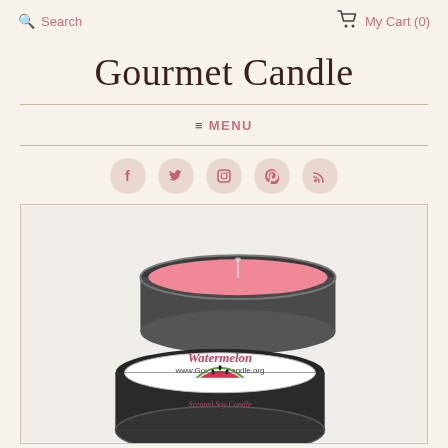Search | My Cart (0)
Gourmet Candle
≡ MENU
[Figure (other): Social media icons: Facebook, Twitter, Instagram, Pinterest, RSS feed — pink circles with white icons]
[Figure (photo): Product photo of a Watermelon Scented Soy Candle by Gourmet Candle (www.GourmetCandle.org). Shows two tin candle containers — one open revealing pink wax with a wick, and one closed with a label showing 'Watermelon', website URL, a watermelon slice graphic, and 'Scented Soy Candle' text.]